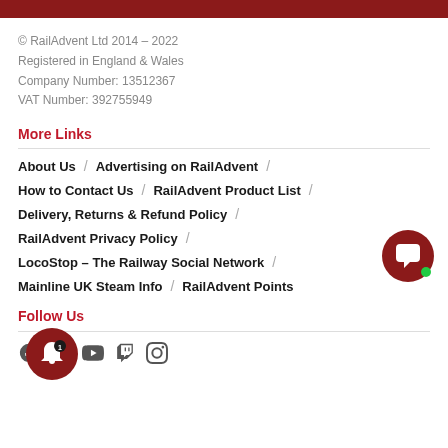[Figure (other): Dark red top banner bar]
© RailAdvent Ltd 2014 – 2022
Registered in England & Wales
Company Number: 13512367
VAT Number: 392755949
More Links
About Us
Advertising on RailAdvent
How to Contact Us
RailAdvent Product List
Delivery, Returns & Refund Policy
RailAdvent Privacy Policy
LocoStop – The Railway Social Network
Mainline UK Steam Info
RailAdvent Points
Follow Us
[Figure (other): Chat bubble icon (dark red circle with speech bubble) with green online indicator dot]
[Figure (other): Notification bell icon inside dark red circle with badge showing '1']
[Figure (other): Social media icons row: Facebook, Twitter, YouTube, Twitch, Instagram]